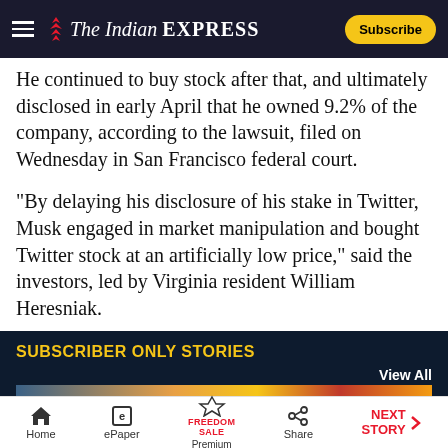The Indian Express — Subscribe
He continued to buy stock after that, and ultimately disclosed in early April that he owned 9.2% of the company, according to the lawsuit, filed on Wednesday in San Francisco federal court.
“By delaying his disclosure of his stake in Twitter, Musk engaged in market manipulation and bought Twitter stock at an artificially low price,” said the investors, led by Virginia resident William Heresniak.
SUBSCRIBER ONLY STORIES
View All
Home | ePaper | Premium | Share | NEXT STORY